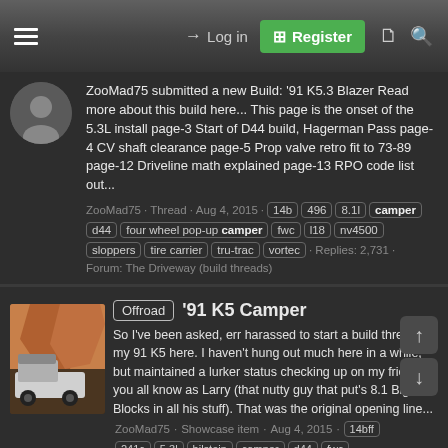Log in | Register
ZooMad75 submitted a new Build: '91 K5.3 Blazer Read more about this build here... This page is the onset of the 5.3L install page-3 Start of D44 build, Hagerman Pass page-4 CV shaft clearance page-5 Prop valve retro fit to 73-89 page-12 Driveline math explained page-13 RPO code list out...
ZooMad75 · Thread · Aug 4, 2015 · 14b 496 8.1l camper d44 four wheel pop-up camper fwc l18 nv4500 sloppers tire carrier tru-trac vortec · Replies: 2,731 · Forum: The Driveway (build threads)
'91 K5 Camper
So I've been asked, err harassed to start a build thread on my 91 K5 here. I haven't hung out much here in a while, but maintained a lurker status checking up on my friend you all know as Larry (that nutty guy that put's 8.1 Big Blocks in all his stuff). That was the original opening line...
ZooMad75 · Showcase item · Aug 4, 2015 · 14bff